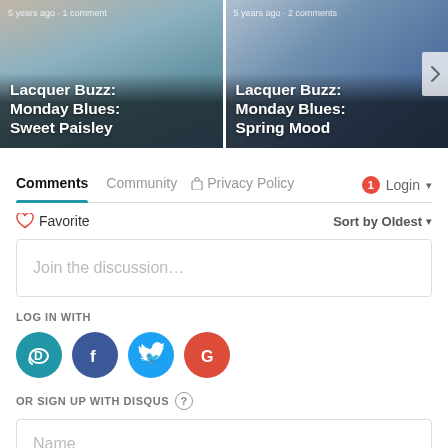[Figure (screenshot): Two blog post thumbnail cards side by side: 'Lacquer Buzz: Monday Blues: Sweet Paisley' and 'Lacquer Buzz: Monday Blues: Spring Mood', with nail polish images in blue tones]
Comments
Community | Privacy Policy | 1 | Login
Favorite | Sort by Oldest
Join the discussion...
LOG IN WITH
[Figure (infographic): Social login icons: Disqus (D), Facebook (f), Twitter bird, Google (G)]
OR SIGN UP WITH DISQUS ?
Name